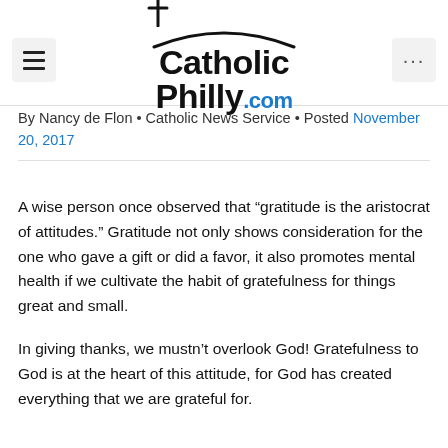[Figure (logo): CatholicPhilly.com logo with cross icon above text, hamburger menu button on left, ellipsis button on right]
By Nancy de Flon • Catholic News Service • Posted November 20, 2017
A wise person once observed that “gratitude is the aristocrat of attitudes.” Gratitude not only shows consideration for the one who gave a gift or did a favor, it also promotes mental health if we cultivate the habit of gratefulness for things great and small.
In giving thanks, we mustn’t overlook God! Gratefulness to God is at the heart of this attitude, for God has created everything that we are grateful for.